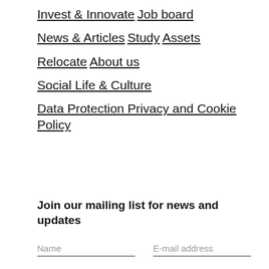Invest & Innovate
Job board
News & Articles
Study
Assets
Relocate
About us
Social Life & Culture
Data Protection Privacy and Cookie Policy
Join our mailing list for news and updates
Name	E-mail address